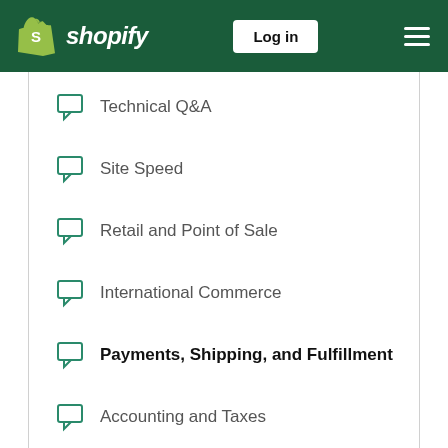Shopify — Log in
Technical Q&A
Site Speed
Retail and Point of Sale
International Commerce
Payments, Shipping, and Fulfillment
Accounting and Taxes
Wholesale and Dropshipping
Shopify Flow App